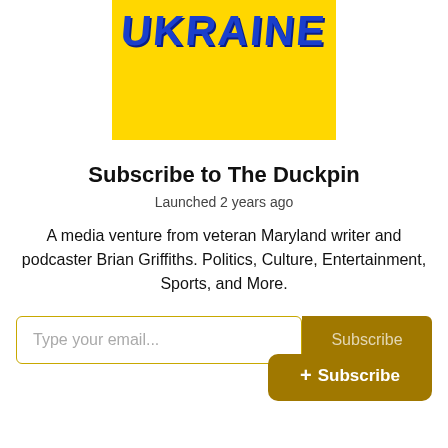[Figure (illustration): Yellow background banner with blue hand-drawn style text reading 'UKRAINE']
Subscribe to The Duckpin
Launched 2 years ago
A media venture from veteran Maryland writer and podcaster Brian Griffiths. Politics, Culture, Entertainment, Sports, and More.
Type your email... Subscribe + Subscribe